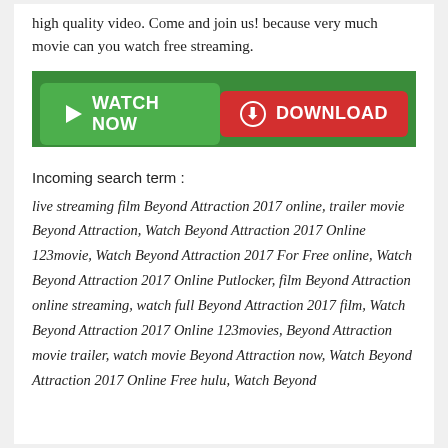high quality video. Come and join us! because very much movie can you watch free streaming.
[Figure (screenshot): Two buttons: a green 'WATCH NOW' button with a play icon, and a red 'DOWNLOAD' button with a download icon, on a dark green background.]
Incoming search term :
live streaming film Beyond Attraction 2017 online, trailer movie Beyond Attraction, Watch Beyond Attraction 2017 Online 123movie, Watch Beyond Attraction 2017 For Free online, Watch Beyond Attraction 2017 Online Putlocker, film Beyond Attraction online streaming, watch full Beyond Attraction 2017 film, Watch Beyond Attraction 2017 Online 123movies, Beyond Attraction movie trailer, watch movie Beyond Attraction now, Watch Beyond Attraction 2017 Online Free hulu, Watch Beyond